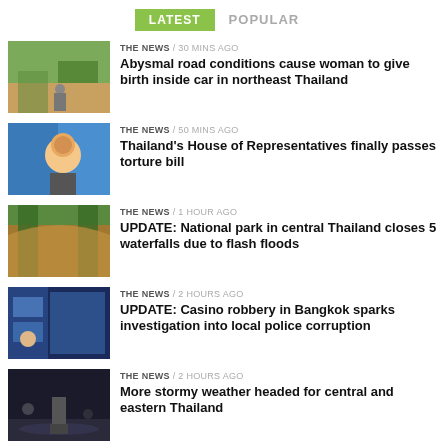LATEST  POPULAR
[Figure (photo): Muddy road in northeast Thailand with a person on a bicycle]
THE NEWS / 30 mins ago
Abysmal road conditions cause woman to give birth inside car in northeast Thailand
[Figure (photo): Young person smiling with three-finger salute gesture]
THE NEWS / 50 mins ago
Thailand's House of Representatives finally passes torture bill
[Figure (photo): Flooded waterfall area with rushing brown water]
THE NEWS / 1 hour ago
UPDATE: National park in central Thailand closes 5 waterfalls due to flash floods
[Figure (photo): Person near arcade or vending machines]
THE NEWS / 2 hours ago
UPDATE: Casino robbery in Bangkok sparks investigation into local police corruption
[Figure (photo): Person standing in rain at night on a wet street]
THE NEWS / 2 hours ago
More stormy weather headed for central and eastern Thailand
[Figure (photo): Dark/black image thumbnail]
THE NEWS / 2 hours ago